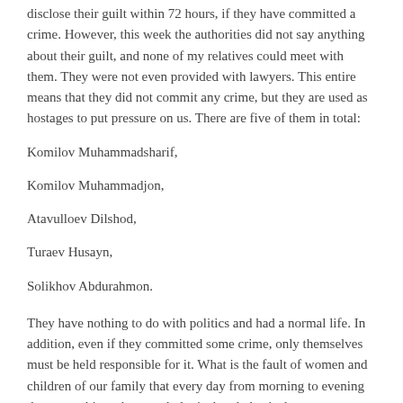disclose their guilt within 72 hours, if they have committed a crime. However, this week the authorities did not say anything about their guilt, and none of my relatives could meet with them. They were not even provided with lawyers. This entire means that they did not commit any crime, but they are used as hostages to put pressure on us. There are five of them in total:
Komilov Muhammadsharif,
Komilov Muhammadjon,
Atavulloev Dilshod,
Turaev Husayn,
Solikhov Abdurahmon.
They have nothing to do with politics and had a normal life. In addition, even if they committed some crime, only themselves must be held responsible for it. What is the fault of women and children of our family that every day from morning to evening they are subjected to psychological and physical